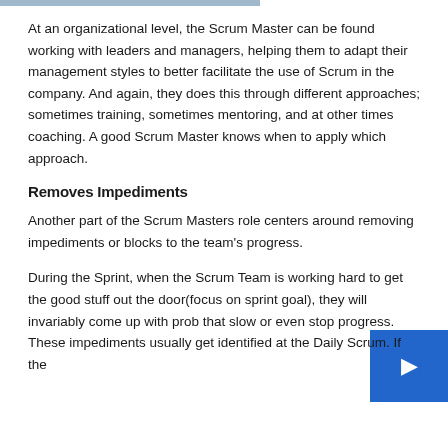At an organizational level, the Scrum Master can be found working with leaders and managers, helping them to adapt their management styles to better facilitate the use of Scrum in the company. And again, they does this through different approaches; sometimes training, sometimes mentoring, and at other times coaching. A good Scrum Master knows when to apply which approach.
Removes Impediments
Another part of the Scrum Masters role centers around removing impediments or blocks to the team's progress.
During the Sprint, when the Scrum Team is working hard to get the good stuff out the door(focus on sprint goal), they will invariably come up with problems that slow or even stop progress. These impediments usually get identified at the Daily Scrum. If the